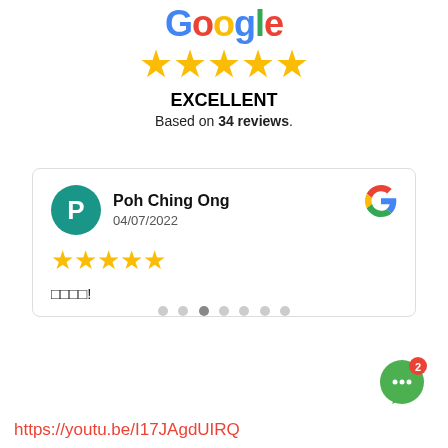[Figure (logo): Google logo in multicolor text]
[Figure (other): Five gold stars rating]
EXCELLENT
Based on 34 reviews.
| P | Poh Ching Ong | 04/07/2022 | ★★★★★ | □□□□! |
[Figure (other): Carousel navigation dots, 7 dots with 3rd active]
[Figure (other): Green chat button with 2 badge notification]
https://youtu.be/I17JAgdUIRQ